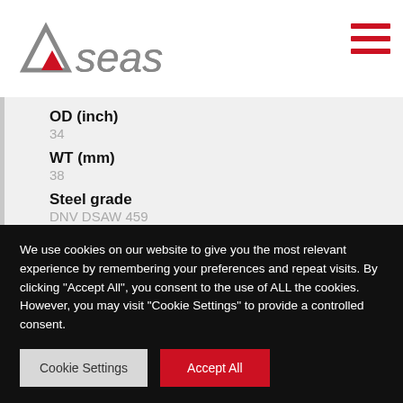Allseas
OD (inch)
34
WT (mm)
38
Steel grade
DNV DSAW 459
We use cookies on our website to give you the most relevant experience by remembering your preferences and repeat visits. By clicking "Accept All", you consent to the use of ALL the cookies. However, you may visit "Cookie Settings" to provide a controlled consent.
Cookie Settings
Accept All